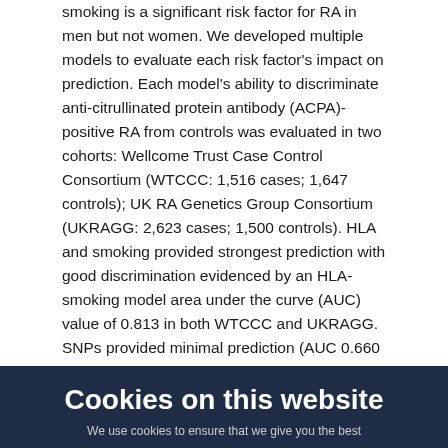smoking is a significant risk factor for RA in men but not women. We developed multiple models to evaluate each risk factor's impact on prediction. Each model's ability to discriminate anti-citrullinated protein antibody (ACPA)-positive RA from controls was evaluated in two cohorts: Wellcome Trust Case Control Consortium (WTCCC: 1,516 cases; 1,647 controls); UK RA Genetics Group Consortium (UKRAGG: 2,623 cases; 1,500 controls). HLA and smoking provided strongest prediction with good discrimination evidenced by an HLA-smoking model area under the curve (AUC) value of 0.813 in both WTCCC and UKRAGG. SNPs provided minimal prediction (AUC 0.660 WTCCC/0.617 UKRAGG). Whilst high individual risks were identified, with some cases having estimated lifetime risks of 86%, only a minority overall had substantially increased odds for RA. High risks from the HLA model were associated with YORA (P<0.0001); ever-smoking associated with older onset disease. This latter finding
Cookies on this website
We use cookies to ensure that we give you the best